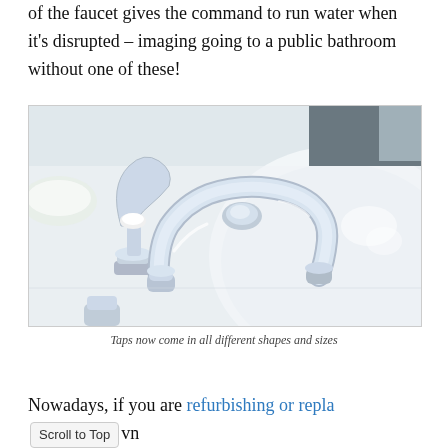of the faucet gives the command to run water when it's disrupted – imaging going to a public bathroom without one of these!
[Figure (photo): Close-up photograph of a chrome bathroom faucet with white ceramic handle knobs on a white sink basin]
Taps now come in all different shapes and sizes
Nowadays, if you are refurbishing or replacing your own bathroom or kitchen faucet, you...